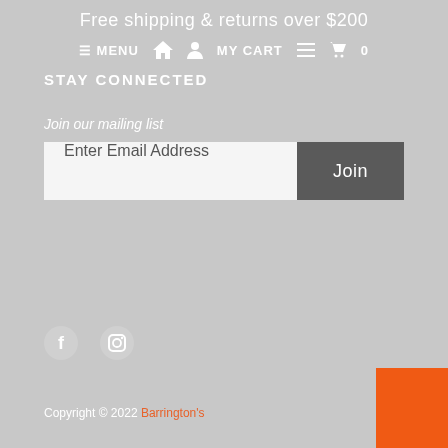Free shipping & returns over $200
≡ MENU  🏠  👤  MY CART  🛒  0
STAY CONNECTED
Join our mailing list
Enter Email Address  Join
[Figure (other): Social media icons: Facebook (f) and Instagram (camera/circle logo)]
Copyright © 2022 Barrington's